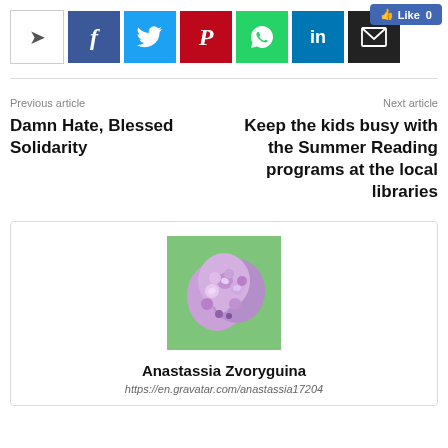[Figure (screenshot): Social sharing bar with share button, Facebook, Twitter, Pinterest, WhatsApp, LinkedIn, Email buttons, and a Like 0 counter]
Previous article
Next article
Damn Hate, Blessed Solidarity
Keep the kids busy with the Summer Reading programs at the local libraries
[Figure (photo): Purple lilac flowers photo used as author avatar]
Anastassia Zvoryguina
https://en.gravatar.com/anastassia17204